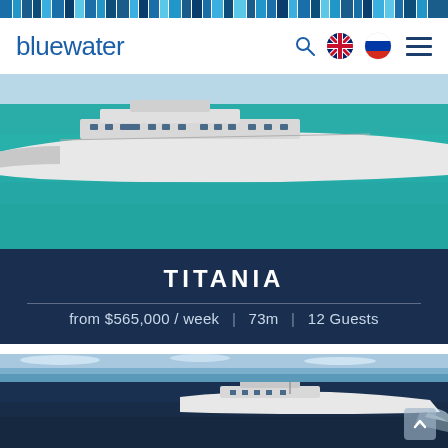[Figure (screenshot): Top decorative mosaic bar with various shades of blue tiles]
bluewater
[Figure (photo): Aerial photo of large white superyacht named Titania sailing on turquoise water]
TITANIA
from $565,000 / week | 73m | 12 Guests
[Figure (photo): Narrow strip showing blue sky and light sea horizon]
[Figure (photo): Photo of a white motor yacht sailing on dark blue ocean water, viewed from aerial perspective]